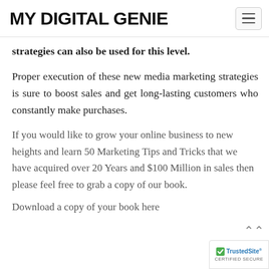MY DIGITAL GENIE
strategies can also be used for this level.
Proper execution of these new media marketing strategies is sure to boost sales and get long-lasting customers who constantly make purchases.
If you would like to grow your online business to new heights and learn 50 Marketing Tips and Tricks that we have acquired over 20 Years and $100 Million in sales then please feel free to grab a copy of our book.
Download a copy of your book here